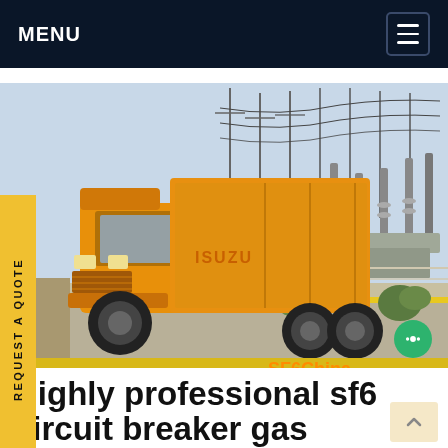MENU
[Figure (photo): Yellow Isuzu truck parked at an electrical substation with high-voltage equipment and transmission towers in the background. Watermark reads SF6China.]
Highly professional sf6 circuit breaker gas pressure Canada